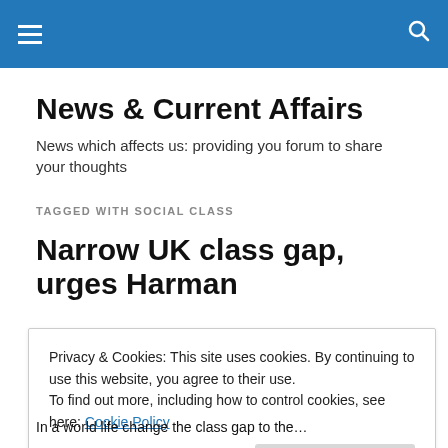≡  🔍
News & Current Affairs
News which affects us: providing you forum to share your thoughts
TAGGED WITH SOCIAL CLASS
Narrow UK class gap, urges Harman
Privacy & Cookies: This site uses cookies. By continuing to use this website, you agree to their use.
To find out more, including how to control cookies, see here: Cookie Policy
Close and accept